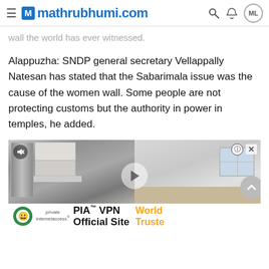mathrubhumi.com
wall the world has ever witnessed.
Alappuzha: SNDP general secretary Vellappally Natesan has stated that the Sabarimala issue was the cause of the women wall. Some people are not protecting customs but the authority in power in temples, he added.
[Figure (screenshot): Video advertisement showing a split view of a kitchen on the left and an empty room on the right, with a play button in the center, mute icon top-left, and an info/close bar top-right. A bottom banner shows PIA VPN Official Site advertisement.]